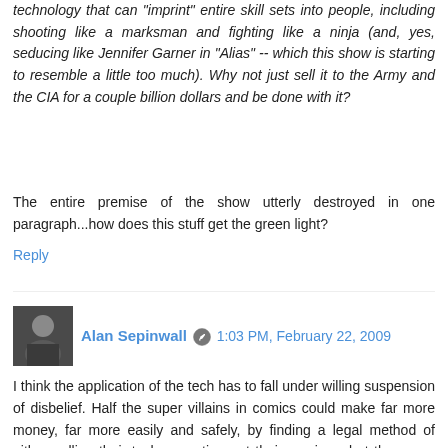technology that can "imprint" entire skill sets into people, including shooting like a marksman and fighting like a ninja (and, yes, seducing like Jennifer Garner in "Alias" -- which this show is starting to resemble a little too much). Why not just sell it to the Army and the CIA for a couple billion dollars and be done with it?
The entire premise of the show utterly destroyed in one paragraph...how does this stuff get the green light?
Reply
Alan Sepinwall  1:03 PM, February 22, 2009
I think the application of the tech has to fall under willing suspension of disbelief. Half the super villains in comics could make far more money, far more easily and safely, by finding a legal method of either selling their tech or renting out their services, but the genre requires that they rob banks instead.
Reply